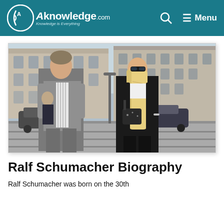AKnowledge.com — Knowledge is Everything | Menu
[Figure (photo): Ralf Schumacher and a blonde woman walking outdoors near a European building streetscape. Ralf wears a grey suit; the woman wears a black outfit with sunglasses.]
Ralf Schumacher Biography
Ralf Schumacher was born on the 30th